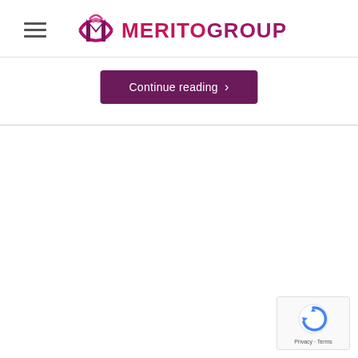MERITO GROUP
Continue reading
[Figure (logo): reCAPTCHA widget with Privacy and Terms links]